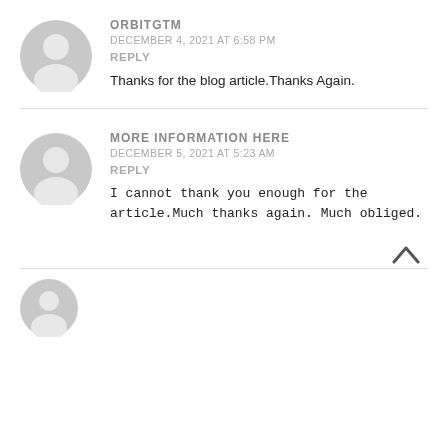[Figure (illustration): Gray avatar placeholder icon for user ORBITGTM]
ORBITGTM
DECEMBER 4, 2021 AT 6:58 PM
REPLY
Thanks for the blog article.Thanks Again.
[Figure (illustration): Gray avatar placeholder icon for user MORE INFORMATION HERE]
MORE INFORMATION HERE
DECEMBER 5, 2021 AT 5:23 AM
REPLY
I cannot thank you enough for the article.Much thanks again. Much obliged.
[Figure (illustration): Gray avatar placeholder icon for third comment (partially visible)]